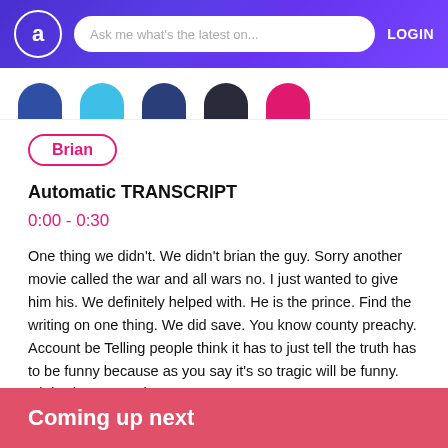Ask me what's the latest on... LOGIN
Brian
Automatic TRANSCRIPT
0:00 - 0:30
One thing we didn't. We didn't brian the guy. Sorry another movie called the war and all wars no. I just wanted to give him his. We definitely helped with. He is the prince. Find the writing on one thing. We did save. You know county preachy. Account be Telling people think it has to just tell the truth has to be funny because as you say it's so tragic will be funny. Oh it's just gonna be awesome
Show More
Coming up next